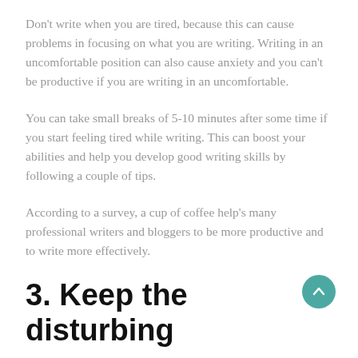Don't write when you are tired, because this can cause problems in focusing on what you are writing. Writing in an uncomfortable position can also cause anxiety and you can't be productive if you are writing in an uncomfortable.
You can take small breaks of 5-10 minutes after some time if you start feeling tired while writing. This can boost your abilities and help you develop good writing skills by following a couple of tips.
According to a survey, a cup of coffee help's many professional writers and bloggers to be more productive and to write more effectively.
3. Keep the disturbing